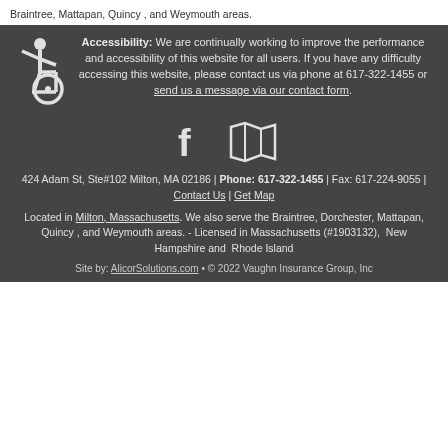Braintree, Mattapan, Quincy, and Weymouth areas.
Accessibility: We are continually working to improve the performance and accessibility of this website for all users. If you have any difficulty accessing this website, please contact us via phone at 617-322-1455 or send us a message via our contact form.
[Figure (illustration): Wheelchair accessibility icon (white on dark background) and social media icons: Facebook 'f' logo and map/book icon]
424 Adam St, Ste#102 Milton, MA 02186 | Phone: 617-322-1455 | Fax: 617-224-9055 | Contact Us | Get Map
Located in Milton, Massachusetts. We also serve the Braintree, Dorchester, Mattapan, Quincy , and Weymouth areas. - Licensed in Massachusetts (#1903132), New Hampshire and Rhode Island
Site by: AlicorSolutions.com • © 2022 Vaughn Insurance Group, Inc